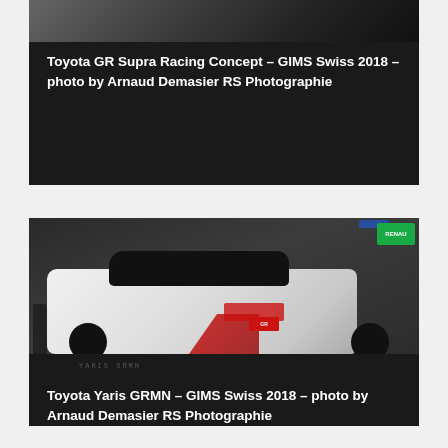[Figure (photo): Partial top view of Toyota GR Supra Racing Concept at GIMS Swiss 2018 auto show, dark background]
Toyota GR Supra Racing Concept – GIMS Swiss 2018 – photo by Arnaud Demasier RS Photographie
[Figure (photo): Toyota Yaris GRMN white sports car with red and black accents shown at GIMS Swiss 2018 auto show, rear three-quarter view, Toyota GR badge visible, Renault sign in background]
Toyota Yaris GRMN – GIMS Swiss 2018 – photo by Arnaud Demasier RS Photographie